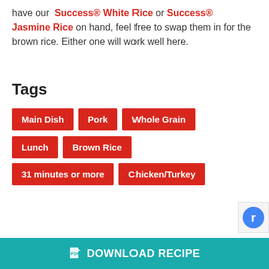have our Success® White Rice or Success® Jasmine Rice on hand, feel free to swap them in for the brown rice. Either one will work well here.
Tags
Main Dish
Pork
Whole Grain
Lunch
Brown Rice
31 minutes or more
Chicken/Turkey
DOWNLOAD RECIPE